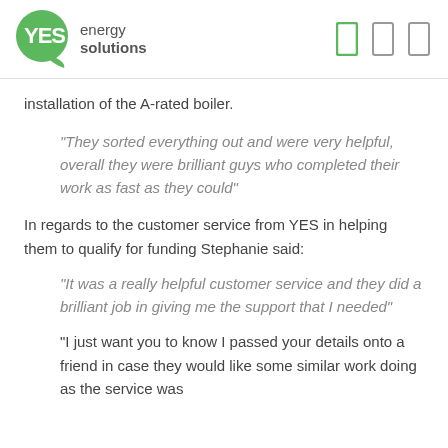[Figure (logo): YES energy solutions logo — green circle with YES text and speech bubble tail, followed by 'energy solutions' text]
installation of the A-rated boiler.
“They sorted everything out and were very helpful, overall they were brilliant guys who completed their work as fast as they could”
In regards to the customer service from YES in helping them to qualify for funding Stephanie said:
“It was a really helpful customer service and they did a brilliant job in giving me the support that I needed”
"I just want you to know I passed your details onto a friend in case they would like some similar work doing as the service was